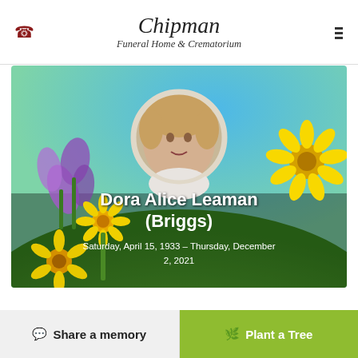Chipman Funeral Home & Crematorium
[Figure (photo): Hero image with colorful flowers (yellow, purple) on a green and blue background with a circular portrait photo of Dora Alice Leaman (Briggs), an elderly woman with short blonde/grey hair wearing a white blouse]
Dora Alice Leaman (Briggs)
Saturday, April 15, 1933 – Thursday, December 2, 2021
Share a memory
Plant a Tree